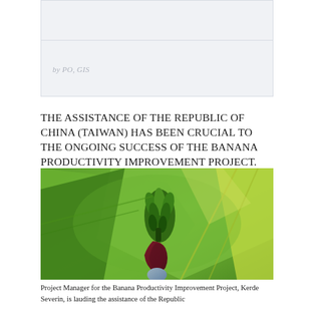by PO, GIS
THE ASSISTANCE OF THE REPUBLIC OF CHINA (TAIWAN) HAS BEEN CRUCIAL TO THE ONGOING SUCCESS OF THE BANANA PRODUCTIVITY IMPROVEMENT PROJECT.
[Figure (photo): Close-up photograph of a banana tree with green unripe banana bunches and a large dark red/maroon banana flower blossom, surrounded by large green banana leaves with yellow highlights.]
Project Manager for the Banana Productivity Improvement Project, Kerde Severin, is lauding the assistance of the Republic